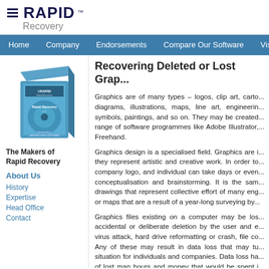Rapid Recovery
Home | Company | Endorsements | Compare Our Software | Vista D...
[Figure (illustration): Rapid Recovery software box product image]
Recovering Deleted or Lost Grap...
Graphics are of many types – logos, clip art, carto... diagrams, illustrations, maps, line art, engineerin... symbols, paintings, and so on. They may be created... range of software programmes like Adobe Illustrator,... Freehand.
Graphics design is a specialised field. Graphics are i... they represent artistic and creative work. In order to... company logo, and individual can take days or even... conceptualisation and brainstorming. It is the sam... drawings that represent collective effort of many eng... or maps that are a result of a year-long surveying by...
Graphics files existing on a computer may be los... accidental or deliberate deletion by the user and e... virus attack, hard drive reformatting or crash, file co... Any of these may result in data loss that may tu... situation for individuals and companies. Data loss ha... of lost man hours and money that would be spent i... again. There are missed deadlines and arguments wi...
Rapid Recovery DIY data-recovery software has sp... lost or deleted graphics files of a vast range of fo...
The Makers of Rapid Recovery
About Us
History
Expertise
Head Office
Contact